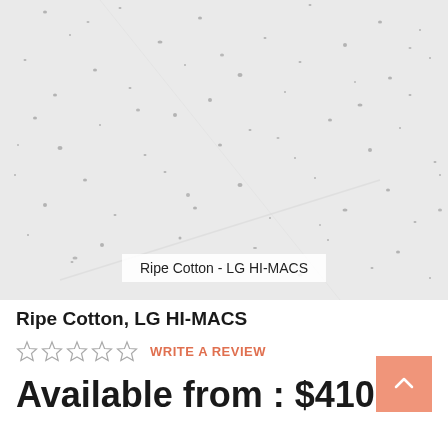[Figure (photo): Close-up photo of Ripe Cotton LG HI-MACS solid surface material — light grey/white speckled texture with fine dark grey particles scattered throughout, resembling a granite or stone surface.]
Ripe Cotton - LG HI-MACS
Ripe Cotton, LG HI-MACS
☆☆☆☆☆  WRITE A REVIEW
Available from : $410.57